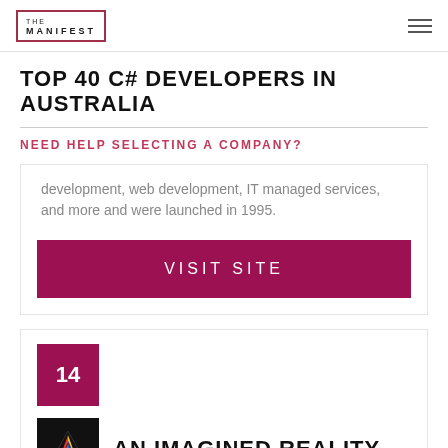THE MANIFEST
TOP 40 C# DEVELOPERS IN AUSTRALIA
NEED HELP SELECTING A COMPANY?
development, web development, IT managed services, and more and were launched in 1995.
VISIT SITE
14
[Figure (logo): An Imagined Reality company logo — dark background with a geometric downward-pointing triangle in red, yellow, and blue]
AN IMAGINED REALITY